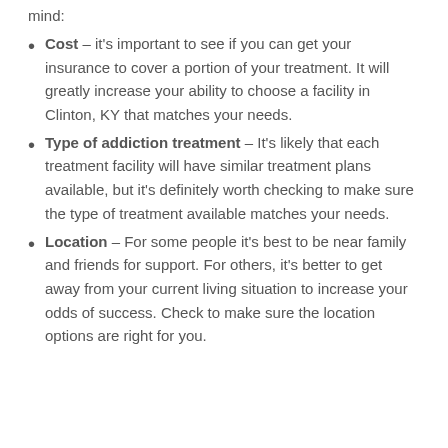mind:
Cost – it's important to see if you can get your insurance to cover a portion of your treatment. It will greatly increase your ability to choose a facility in Clinton, KY that matches your needs.
Type of addiction treatment – It's likely that each treatment facility will have similar treatment plans available, but it's definitely worth checking to make sure the type of treatment available matches your needs.
Location – For some people it's best to be near family and friends for support. For others, it's better to get away from your current living situation to increase your odds of success. Check to make sure the location options are right for you.